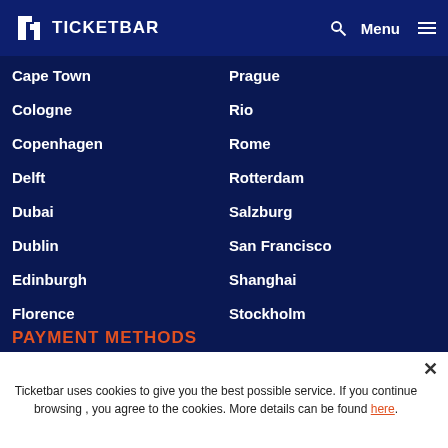TICKETBAR — Menu
Cape Town — Prague
Cologne — Rio
Copenhagen — Rome
Delft — Rotterdam
Dubai — Salzburg
Dublin — San Francisco
Edinburgh — Shanghai
Florence — Stockholm
Hague — Sydney
Hong Kong — Valencia
Istanbul — Venice
Krakow — Vienna
PAYMENT METHODS
Ticketbar uses cookies to give you the best possible service. If you continue browsing , you agree to the cookies. More details can be found here.